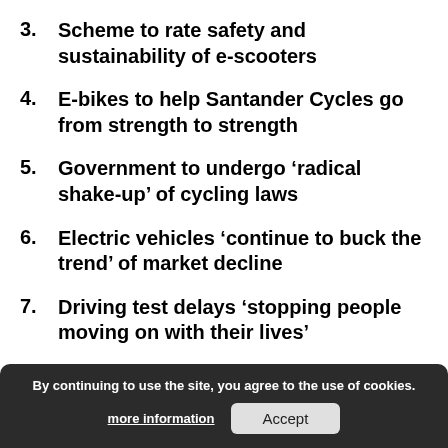3. Scheme to rate safety and sustainability of e-scooters
4. E-bikes to help Santander Cycles go from strength to strength
5. Government to undergo ‘radical shake-up’ of cycling laws
6. Electric vehicles ‘continue to buck the trend’ of market decline
7. Driving test delays ‘stopping people moving on with their lives’
8. Presentation to explore b... technology
By continuing to use the site, you agree to the use of cookies. more information  Accept